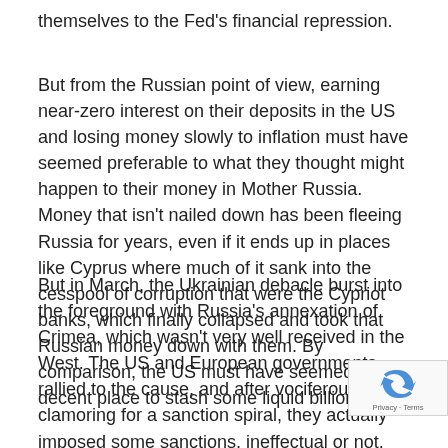themselves to the Fed's financial repression.
But from the Russian point of view, earning near-zero interest on their deposits in the US and losing money slowly to inflation must have seemed preferable to what they thought might happen to their money in Mother Russia. Money that isn't nailed down has been fleeing Russia for years, even if it ends up in places like Cyprus where much of it sank into the cesspool of corruption that were the Cypriot banks, which finally collapsed and took that Russian money down with them. By comparison, the US must have seemed like a decent place to stash some liquid billions.
But in March, the Ukrainian debacle burst into the foreground with Russia's annexation of Crimea, which wasn't very well received in the West. The US and European governments rallied to the cause, and after vociferously clamoring for a sanction spiral, they actually imposed some sanctions, ineffectual or not, that included blacklisting some Russian oligarchs and their moolah.